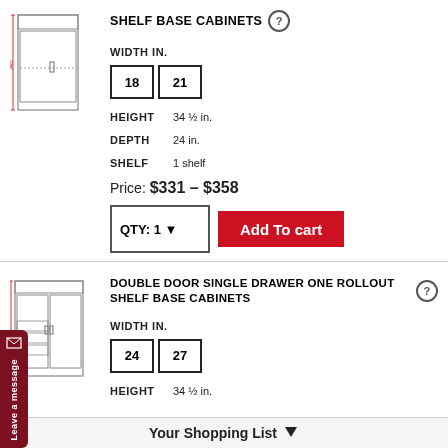[Figure (illustration): Line drawing of a shelf base cabinet with one door and internal shelf]
SHELF BASE CABINETS
WIDTH IN.
18   21
HEIGHT   34 ½ in.
DEPTH   24 in.
SHELF   1 shelf
Price: $331 – $358
QTY: 1   Add To cart
[Figure (illustration): Line drawing of a double door single drawer one rollout shelf base cabinet]
DOUBLE DOOR SINGLE DRAWER ONE ROLLOUT SHELF BASE CABINETS
WIDTH IN.
24   27
HEIGHT   34 ½ in.
Your Shopping List